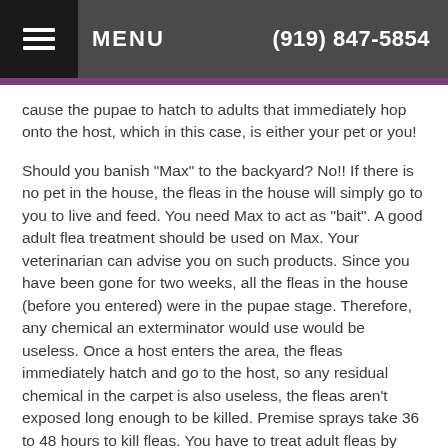MENU  (919) 847-5854
cause the pupae to hatch to adults that immediately hop onto the host, which in this case, is either your pet or you!
Should you banish "Max" to the backyard? No!! If there is no pet in the house, the fleas in the house will simply go to you to live and feed. You need Max to act as "bait". A good adult flea treatment should be used on Max. Your veterinarian can advise you on such products. Since you have been gone for two weeks, all the fleas in the house (before you entered) were in the pupae stage. Therefore, any chemical an exterminator would use would be useless. Once a host enters the area, the fleas immediately hatch and go to the host, so any residual chemical in the carpet is also useless, the fleas aren't exposed long enough to be killed. Premise sprays take 36 to 48 hours to kill fleas. You have to treat adult fleas by treating the pet. The best flea control involves treating all the stages possible and stopping egg production. Drugs that kill eggs and larvae are added to some adult topical treatments or